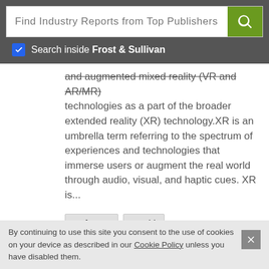Find Industry Reports from Top Publishers
Search inside Frost & Sullivan
and augmented mixed reality (VR and AR/MR) technologies as a part of the broader extended reality (XR) technology.XR is an umbrella term referring to the spectrum of experiences and technologies that immerse users or augment the real world through audio, visual, and haptic cues. XR is...
Software
World
Software Revenue
Direct Sales
North American
By continuing to use this site you consent to the use of cookies on your device as described in our Cookie Policy unless you have disabled them.